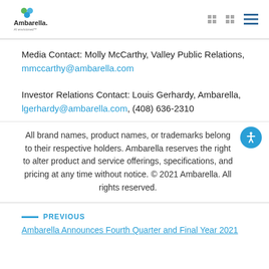Ambarella AI envisioned
Media Contact: Molly McCarthy, Valley Public Relations, mmccarthy@ambarella.com
Investor Relations Contact: Louis Gerhardy, Ambarella, lgerhardy@ambarella.com, (408) 636-2310
All brand names, product names, or trademarks belong to their respective holders. Ambarella reserves the right to alter product and service offerings, specifications, and pricing at any time without notice. © 2021 Ambarella. All rights reserved.
PREVIOUS
Ambarella Announces Fourth Quarter and Final Year 2021